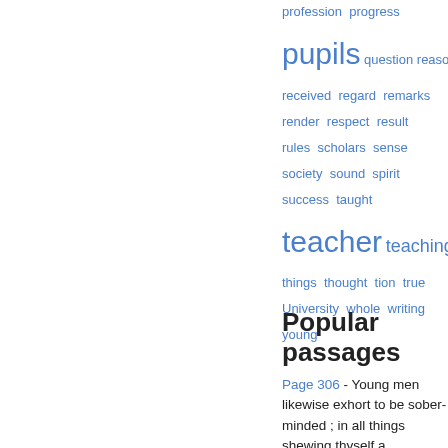[Figure (other): Word cloud showing education-related terms in blue, with varying font sizes. Words include: profession, progress, pupils (large), question, reason, received, regard, remarks, render, respect, result, rules, scholars, sense, society, sound, spirit, success, taught, teacher (large), teaching, things, thought, tion, true, University, whole, writing, young.]
Popular passages
Page 306 - Young men likewise exhort to be sober-minded ; in all things shewing thyself a